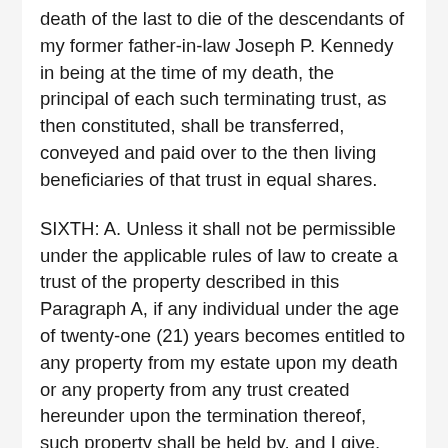death of the last to die of the descendants of my former father-in-law Joseph P. Kennedy in being at the time of my death, the principal of each such terminating trust, as then constituted, shall be transferred, conveyed and paid over to the then living beneficiaries of that trust in equal shares.
SIXTH: A. Unless it shall not be permissible under the applicable rules of law to create a trust of the property described in this Paragraph A, if any individual under the age of twenty-one (21) years becomes entitled to any property from my estate upon my death or any property from any trust created hereunder upon the termination thereof, such property shall be held by, and I give,